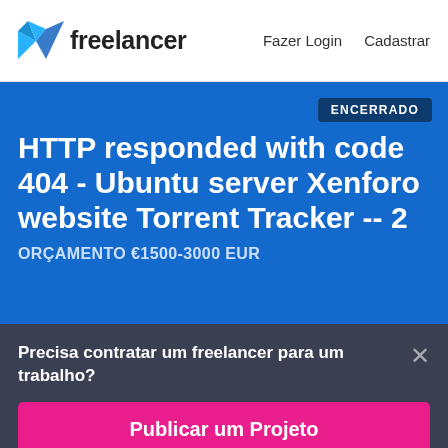freelancer | Fazer Login  Cadastrar
[Figure (logo): Freelancer logo with blue origami bird icon and 'freelancer' wordmark in dark text]
ENCERRADO
HTTP responded with code 404 - Ubuntu server Xenforo website Torrent Tracker -- 2
ORÇAMENTO €1500-3000 EUR
Precisa contratar um freelancer para um trabalho?
Publicar um Projeto